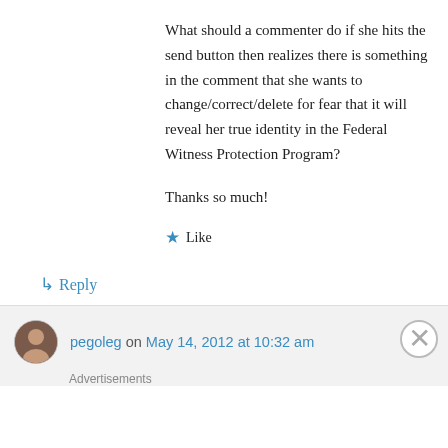What should a commenter do if she hits the send button then realizes there is something in the comment that she wants to change/correct/delete for fear that it will reveal her true identity in the Federal Witness Protection Program?
Thanks so much!
★ Like
↪ Reply
pegoleg on May 14, 2012 at 10:32 am
Advertisements